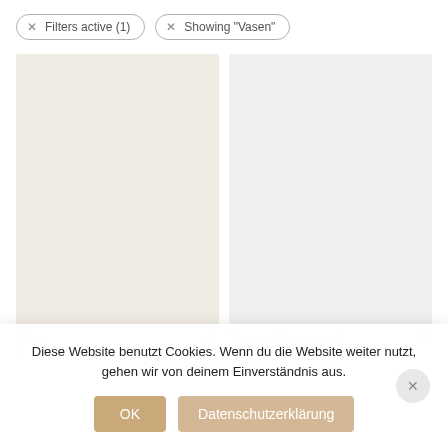× Filters active (1)
× Showing "Vasen"
[Figure (other): Empty product image placeholder box (light beige/tan background) for a vase product card on the left]
Vase
[Figure (other): Empty product image placeholder box (light grey background) for a vase product card on the right]
Vase – Schwarz matt
Diese Website benutzt Cookies. Wenn du die Website weiter nutzt, gehen wir von deinem Einverständnis aus.
OK
Datenschutzerklärung